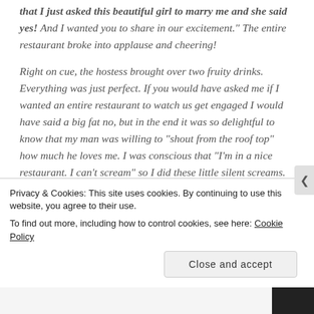that I just asked this beautiful girl to marry me and she said yes! And I wanted you to share in our excitement." The entire restaurant broke into applause and cheering!
Right on cue, the hostess brought over two fruity drinks. Everything was just perfect. If you would have asked me if I wanted an entire restaurant to watch us get engaged I would have said a big fat no, but in the end it was so delightful to know that my man was willing to “shout from the roof top” how much he loves me. I was conscious that “I’m in a nice restaurant. I can’t scream” so I did these little silent screams. But when you truly, it all came out and I said “N
Privacy & Cookies: This site uses cookies. By continuing to use this website, you agree to their use.
To find out more, including how to control cookies, see here: Cookie Policy
Close and accept